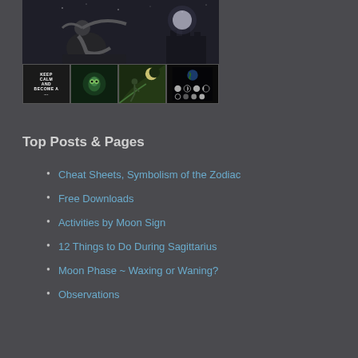[Figure (photo): Main image showing a woman in a fantasy/mystical moonlit scene, black and white illustration, with a castle silhouette in the background]
[Figure (photo): Row of four thumbnail images: (1) dark background with text 'KEEP CALM AND BECOME A ...' in white, (2) green mystical creature/eye illustration, (3) fantasy illustration with crescent moon, (4) moon phases diagram showing Earth and moon phases]
Top Posts & Pages
Cheat Sheets, Symbolism of the Zodiac
Free Downloads
Activities by Moon Sign
12 Things to Do During Sagittarius
Moon Phase ~ Waxing or Waning?
Observations